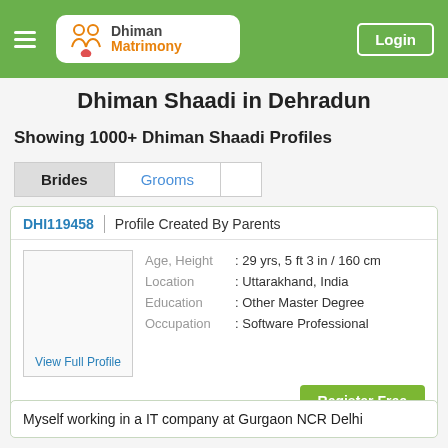Dhiman Matrimony — Login
Dhiman Shaadi in Dehradun
Showing 1000+ Dhiman Shaadi Profiles
Brides | Grooms
| Field | Value |
| --- | --- |
| DHI119458 | Profile Created By Parents |
| Age, Height | : 29 yrs, 5 ft 3 in / 160 cm |
| Location | : Uttarakhand, India |
| Education | : Other Master Degree |
| Occupation | : Software Professional |
View Full Profile
Register Free
Myself working in a IT company at Gurgaon NCR Delhi